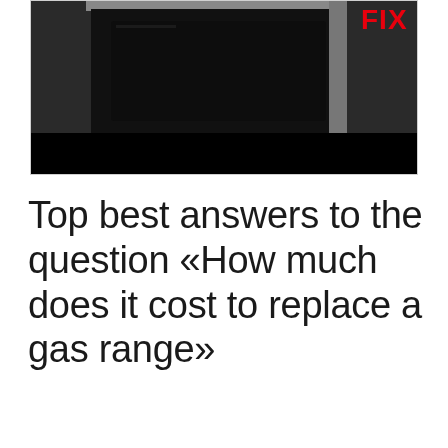[Figure (photo): Partial image of a gas range/stove with a dark oven window and silver/black frame, with a red 'FIX' logo visible in the top right corner. A black horizontal bar overlays the lower portion of the image.]
Top best answers to the question «How much does it cost to replace a gas range»